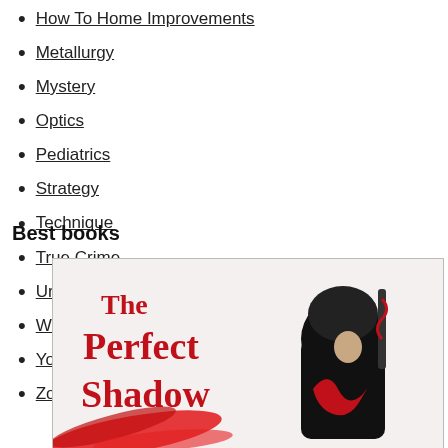How To Home Improvements
Metallurgy
Mystery
Optics
Pediatrics
Strategy
Technique
True Crime
Urology
Web Design
Young Adult Fiction
Zoology
Best books
[Figure (illustration): Book cover for 'The Perfect Shadow' showing a figure in black ninja/assassin clothing with red decorative elements and a red ribbon/smoke swirl at the bottom left]